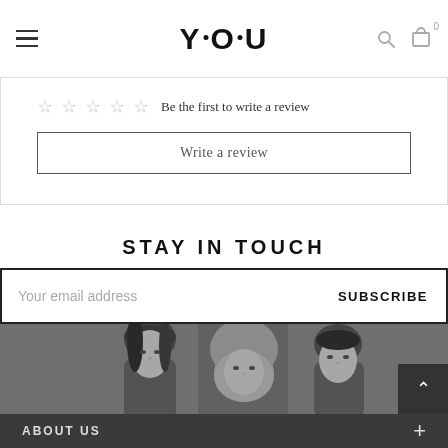Y.O.U — navigation header with hamburger menu, logo, search and cart icons
☆ ☆ ☆ ☆ ☆  Be the first to write a review
Write a review
STAY IN TOUCH
Your email address  SUBSCRIBE
[Figure (photo): Three women posing — one with straight black hair, one wearing a hijab, one with hair pulled back — in a grayscale promotional photo]
ABOUT US  +